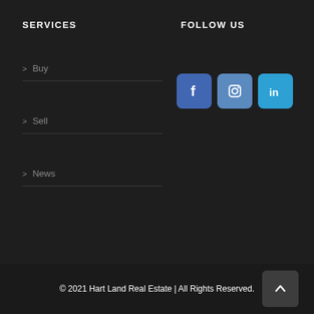SERVICES
> Buy
> Sell
> News
FOLLOW US
[Figure (logo): Social media icons: Facebook, Instagram, LinkedIn]
© 2021 Hart Land Real Estate | All Rights Reserved.